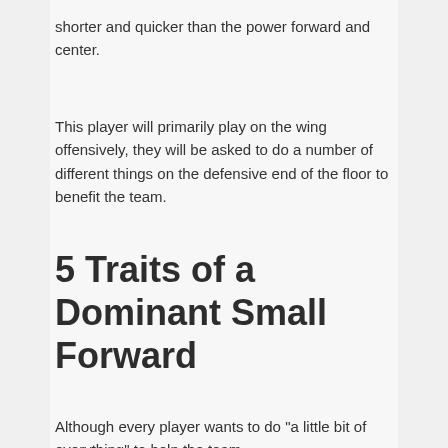shorter and quicker than the power forward and center.
This player will primarily play on the wing offensively, they will be asked to do a number of different things on the defensive end of the floor to benefit the team.
5 Traits of a Dominant Small Forward
Although every player wants to do "a little bit of everything" to help the team --